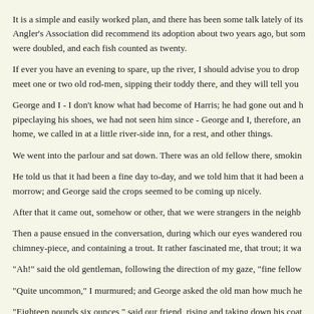It is a simple and easily worked plan, and there has been some talk lately of its Angler's Association did recommend its adoption about two years ago, but som were doubled, and each fish counted as twenty.
If ever you have an evening to spare, up the river, I should advise you to drop meet one or two old rod-men, sipping their toddy there, and they will tell you
George and I - I don't know what had become of Harris; he had gone out and h pipeclaying his shoes, we had not seen him since - George and I, therefore, an home, we called in at a little river-side inn, for a rest, and other things.
We went into the parlour and sat down. There was an old fellow there, smokin
He told us that it had been a fine day to-day, and we told him that it had been a morrow; and George said the crops seemed to be coming up nicely.
After that it came out, somehow or other, that we were strangers in the neighb
Then a pause ensued in the conversation, during which our eyes wandered rou chimney-piece, and containing a trout. It rather fascinated me, that trout; it wa
"Ah!" said the old gentleman, following the direction of my gaze, "fine fellow
"Quite uncommon," I murmured; and George asked the old man how much he
"Eighteen pounds six ounces," said our friend, rising and taking down his coat him. I caught him just below the bridge with a minnow. They told me he wur i